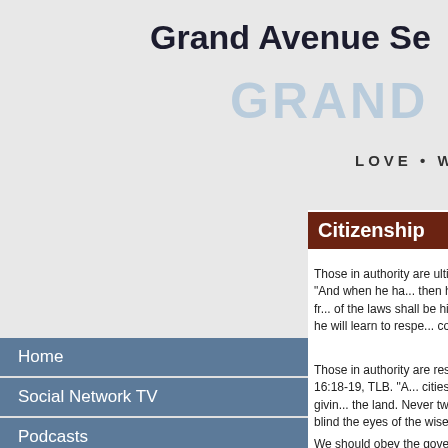Grand Avenue Se
GRAND
LOVE •  W
Home
Social Network TV
Podcasts
Photos
Calendar
Prayer Request
Ministerio Hispano
Sabbath School Lesson
Store
Online Giving
Citizenship
Those in authority are ultimately... 17:18-19, TLB. "And when he ha... then he must copy these laws fr... of the laws shall be his constant... life so that he will learn to respe... commands."
Those in authority are responsib... Deuteronomy 16:18-19, TLB. "A... cities the Lord your God is givin... the land. Never twist justice to b... bribes blind the eyes of the wise...
We should obey the government... the Bible, Romans 13:1-4, TLB...